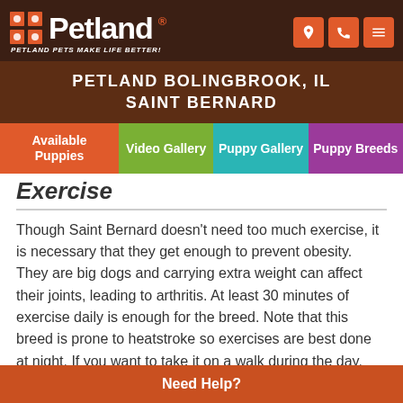Petland - Petland Pets Make Life Better!
PETLAND BOLINGBROOK, IL
SAINT BERNARD
Exercise
Though Saint Bernard doesn't need too much exercise, it is necessary that they get enough to prevent obesity. They are big dogs and carrying extra weight can affect their joints, leading to arthritis. At least 30 minutes of exercise daily is enough for the breed. Note that this breed is prone to heatstroke so exercises are best done at night. If you want to take it on a walk during the day, ensure it's a short walk and take some water along. Also, pay attention to it for any signs of exhaustion.
Need Help?